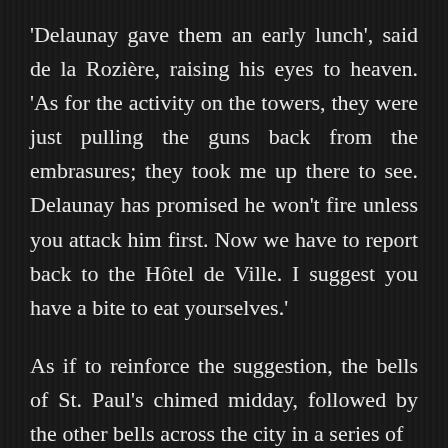'Delaunay gave them an early lunch', said de la Rozière, raising his eyes to heaven. 'As for the activity on the towers, they were just pulling the guns back from the embrasures; they took me up there to see. Delaunay has promised he won't fire unless you attack him first. Now we have to report back to the Hôtel de Ville. I suggest you have a bite to eat yourselves.'
As if to reinforce the suggestion, the bells of St. Paul's chimed midday, followed by the other bells across the city in a series of